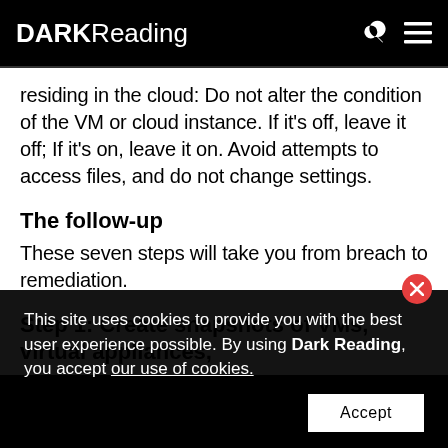DARK Reading
residing in the cloud: Do not alter the condition of the VM or cloud instance. If it's off, leave it off; If it's on, leave it on. Avoid attempts to access files, and do not change settings.
The follow-up
These seven steps will take you from breach to remediation.
Step 1: Create snapshots of VMs, virtual appliances,
This site uses cookies to provide you with the best user experience possible. By using Dark Reading, you accept our use of cookies.